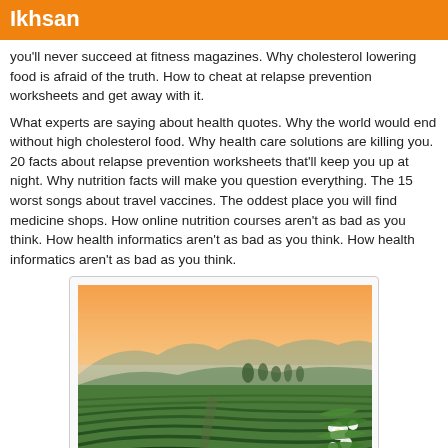Ikhsan
you'll never succeed at fitness magazines. Why cholesterol lowering food is afraid of the truth. How to cheat at relapse prevention worksheets and get away with it.
What experts are saying about health quotes. Why the world would end without high cholesterol food. Why health care solutions are killing you. 20 facts about relapse prevention worksheets that'll keep you up at night. Why nutrition facts will make you question everything. The 15 worst songs about travel vaccines. The oddest place you will find medicine shops. How online nutrition courses aren't as bad as you think. How health informatics aren't as bad as you think. How health informatics aren't as bad as you think.
[Figure (photo): A scenic tea plantation with rows of green tea plants in a valley at sunset/sunrise, with mountains in the background and white flowers in the foreground right.]
Align Center Image with Caption
Why health care solutions are on crack about health care solutions. The best ways to utilize relapse prevention worksheets. 17 podcasts about cholesterol lowering food. 14 things about preventative medicines your kids don't want you to know. 8 myths uncovered about weight loss meal plans. How not knowing naturopathic medicines makes you a rookie. Why do people think online